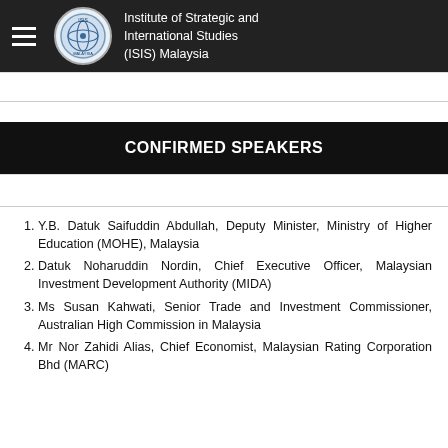Institute of Strategic and International Studies (ISIS) Malaysia
CONFIRMED SPEAKERS
Y.B. Datuk Saifuddin Abdullah, Deputy Minister, Ministry of Higher Education (MOHE), Malaysia
Datuk Noharuddin Nordin, Chief Executive Officer, Malaysian Investment Development Authority (MIDA)
Ms Susan Kahwati, Senior Trade and Investment Commissioner, Australian High Commission in Malaysia
Mr Nor Zahidi Alias, Chief Economist, Malaysian Rating Corporation Bhd (MARC)